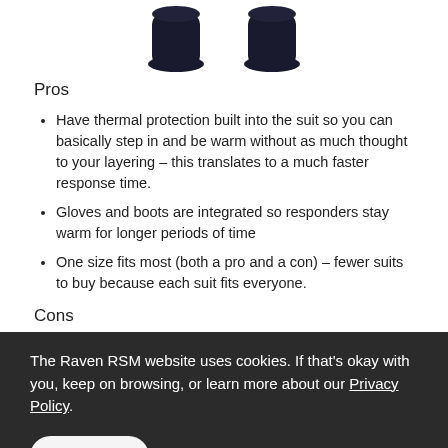[Figure (photo): Bottom portion of a mannequin or person showing two dark/black boots or feet of a suit]
Pros
Have thermal protection built into the suit so you can basically step in and be warm without as much thought to your layering – this translates to a much faster response time.
Gloves and boots are integrated so responders stay warm for longer periods of time
One size fits most (both a pro and a con) – fewer suits to buy because each suit fits everyone.
Cons
The Raven RSM website uses cookies. If that's okay with you, keep on browsing, or learn more about our Privacy Policy.
Ok